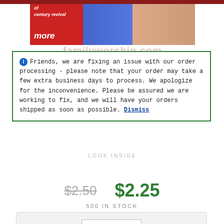[Figure (photo): Top portion of a book product page showing book cover image with red, blue, and skin-toned sections, text 'century revival' and 'more' visible]
Friends, we are fixing an issue with our order processing - please note that your order may take a few extra business days to process. We apologize for the inconvenience. Please be assured we are working to fix, and we will have your orders shipped as soon as possible. Dismiss
$2.50
$2.25
500 IN STOCK
1
+ ADD TO CART
ADD TO WISHLIST
BOOK DESCRIPTION